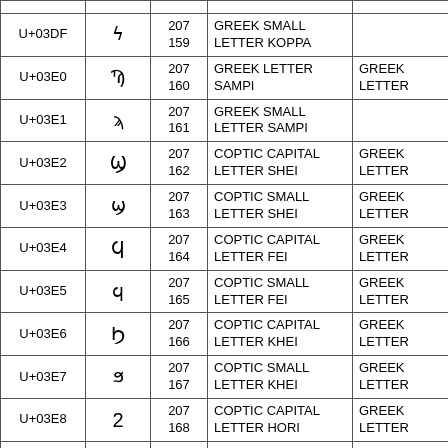| Code | Char | Bytes | Name | Alias |
| --- | --- | --- | --- | --- |
| U+03DF | ϟ | 207
159 | GREEK SMALL LETTER KOPPA |  |
| U+03E0 | Ϡ | 207
160 | GREEK LETTER SAMPI | GREEK LETTER |
| U+03E1 | ϡ | 207
161 | GREEK SMALL LETTER SAMPI |  |
| U+03E2 | Ϣ | 207
162 | COPTIC CAPITAL LETTER SHEI | GREEK LETTER |
| U+03E3 | ϣ | 207
163 | COPTIC SMALL LETTER SHEI | GREEK LETTER |
| U+03E4 | Ϥ | 207
164 | COPTIC CAPITAL LETTER FEI | GREEK LETTER |
| U+03E5 | ϥ | 207
165 | COPTIC SMALL LETTER FEI | GREEK LETTER |
| U+03E6 | Ϧ | 207
166 | COPTIC CAPITAL LETTER KHEI | GREEK LETTER |
| U+03E7 | ϧ | 207
167 | COPTIC SMALL LETTER KHEI | GREEK LETTER |
| U+03E8 | Ϩ | 207
168 | COPTIC CAPITAL LETTER HORI | GREEK LETTER |
| U+03E9 | ϩ | 207
169 | COPTIC SMALL LETTER HORI | GREEK LETTER |
|  |  |  |  | GREEK |